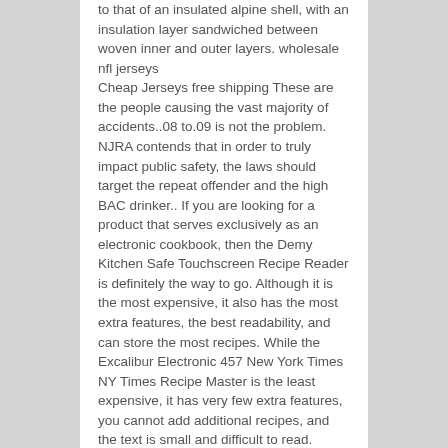to that of an insulated alpine shell, with an insulation layer sandwiched between woven inner and outer layers. wholesale nfl jerseys Cheap Jerseys free shipping These are the people causing the vast majority of accidents..08 to.09 is not the problem. NJRA contends that in order to truly impact public safety, the laws should target the repeat offender and the high BAC drinker.. If you are looking for a product that serves exclusively as an electronic cookbook, then the Demy Kitchen Safe Touchscreen Recipe Reader is definitely the way to go. Although it is the most expensive, it also has the most extra features, the best readability, and can store the most recipes. While the Excalibur Electronic 457 New York Times NY Times Recipe Master is the least expensive, it has very few extra features, you cannot add additional recipes, and the text is small and difficult to read. Cheap Jerseys free shipping